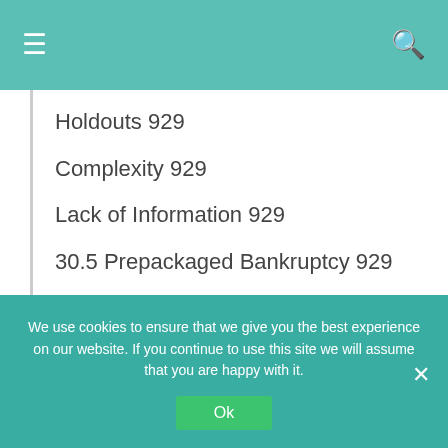≡  🔍
Holdouts 929
Complexity 929
Lack of Information 929
30.5 Prepackaged Bankruptcy 929
30.6 Predicting Corporate Bankruptcy:
We use cookies to ensure that we give you the best experience on our website. If you continue to use this site we will assume that you are happy with it.
Ok